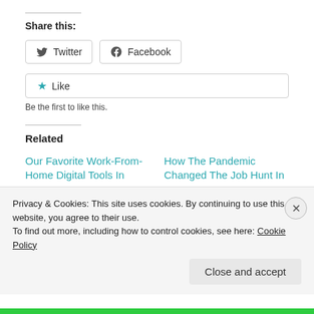Share this:
Twitter  Facebook
★ Like
Be the first to like this.
Related
Our Favorite Work-From-Home Digital Tools In 2021
May 3, 2021
How The Pandemic Changed The Job Hunt In 2021
Privacy & Cookies: This site uses cookies. By continuing to use this website, you agree to their use.
To find out more, including how to control cookies, see here: Cookie Policy
Close and accept